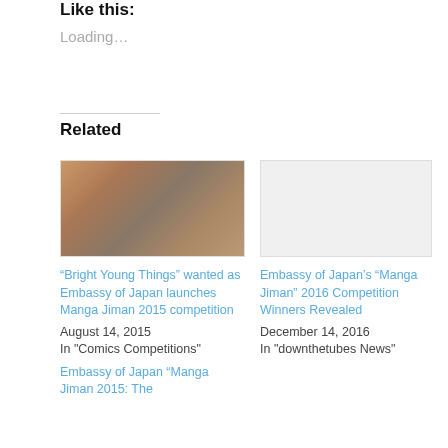Like this:
Loading...
Related
[Figure (illustration): Manga-style illustration of a character holding a microphone, with colorful background]
“Bright Young Things” wanted as Embassy of Japan launches Manga Jiman 2015 competition
August 14, 2015
In "Comics Competitions"
[Figure (photo): Blank/placeholder image for Embassy of Japan Manga Jiman 2016]
Embassy of Japan’s “Manga Jiman” 2016 Competition Winners Revealed
December 14, 2016
In "downthetubes News"
Embassy of Japan “Manga Jiman 2015: The